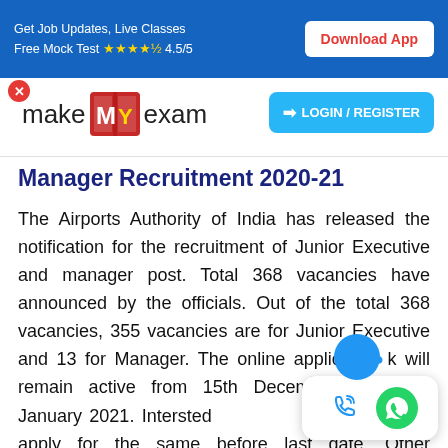Get Job Updates, Live Classes Free Mock Test ★★★★½ 4.5/5  Download App
[Figure (logo): makeMyexam logo with red book icon]
Manager Recruitment 2020-21
The Airports Authority of India has released the notification for the recruitment of Junior Executive and manager post. Total 368 vacancies have announced by the officials. Out of the total 368 vacancies, 355 vacancies are for Junior Executive and 13 for Manager. The online application link will remain active from 15th December 2020 to 14th January 2021. Intersted candidates can apply for the same before last date. Other important details regarding notification